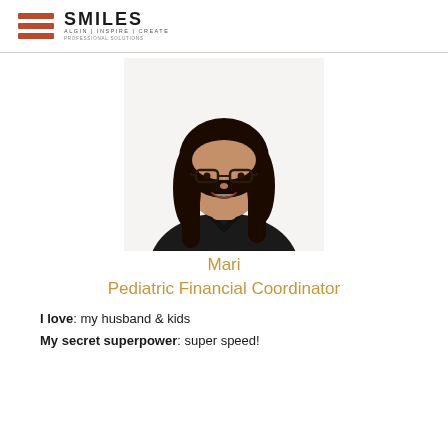SMILES — logo with bars
[Figure (photo): Headshot photo of Mari, a woman with long dark hair and glasses, wearing a black top, smiling against a white background.]
Mari
Pediatric Financial Coordinator
I love: my husband & kids
My secret superpower: super speed!